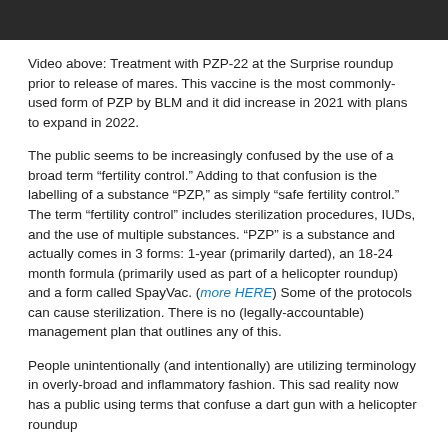[Figure (photo): Dark/dimmed photo at the top of the page, partially visible]
Video above: Treatment with PZP-22 at the Surprise roundup prior to release of mares. This vaccine is the most commonly-used form of PZP by BLM and it did increase in 2021 with plans to expand in 2022.
The public seems to be increasingly confused by the use of a broad term “fertility control.” Adding to that confusion is the labelling of a substance “PZP,” as simply “safe fertility control.” The term “fertility control” includes sterilization procedures, IUDs, and the use of multiple substances. “PZP” is a substance and actually comes in 3 forms: 1-year (primarily darted), an 18-24 month formula (primarily used as part of a helicopter roundup) and a form called SpayVac. (more HERE) Some of the protocols can cause sterilization. There is no (legally-accountable) management plan that outlines any of this.
People unintentionally (and intentionally) are utilizing terminology in overly-broad and inflammatory fashion. This sad reality now has a public using terms that confuse a dart gun with a helicopter roundup